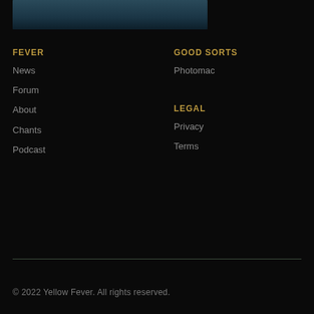[Figure (photo): Partial view of a dark teal/blue-toned image, likely a sports or crowd scene]
FEVER
News
Forum
About
Chants
Podcast
GOOD SORTS
Photomac
LEGAL
Privacy
Terms
© 2022 Yellow Fever. All rights reserved.